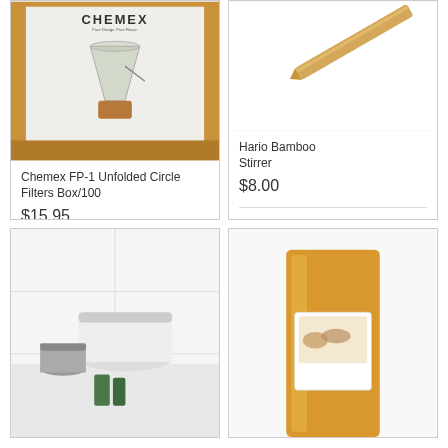[Figure (photo): Chemex FP-1 product photo showing a Chemex coffee maker with glass funnel on wooden base, in a box with white background and wood shelving behind]
Chemex FP-1 Unfolded Circle Filters Box/100
$15.95
Add to cart
Details
[Figure (photo): Hario bamboo stirrer - a wooden/bamboo flat spatula-style stirrer on white background]
Hario Bamboo Stirrer
$8.00
Add to cart
Details
[Figure (photo): Bottom-left product photo showing coffee storage containers - cylindrical white and metallic containers on a shelf with white tile background]
[Figure (photo): Bottom-right product photo showing an amber/orange glass bottle with a label containing an image of hands, partially visible]